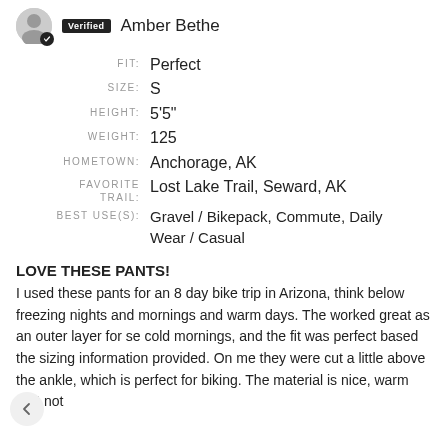Verified Amber Bethe
FIT: Perfect
SIZE: S
HEIGHT: 5'5"
WEIGHT: 125
HOMETOWN: Anchorage, AK
FAVORITE TRAIL: Lost Lake Trail, Seward, AK
BEST USE(S): Gravel / Bikepack, Commute, Daily Wear / Casual
LOVE THESE PANTS!
I used these pants for an 8 day bike trip in Arizona, think below freezing nights and mornings and warm days. The worked great as an outer layer for se cold mornings, and the fit was perfect based the sizing information provided. On me they were cut a little above the ankle, which is perfect for biking. The material is nice, warm (but not